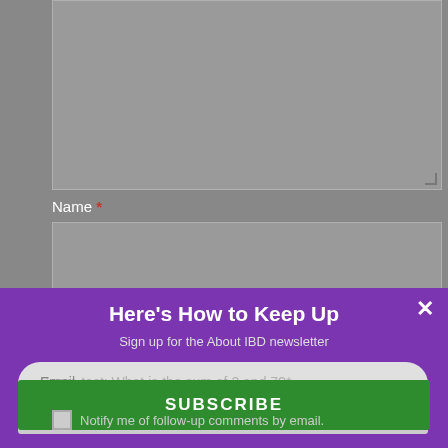[Figure (screenshot): A web comment form with fields for Name, Email, and Website, partially covered by a purple newsletter signup modal overlay. The modal has the title 'Here's How to Keep Up', subtitle 'Sign up for the About IBD newsletter', an email input field, and a green SUBSCRIBE button. The background form shows gray input boxes on a gray background.]
Name *
Email *
Website
Here's How to Keep Up
Sign up for the About IBD newsletter
Email
Spam-test: What is the sum of 2 and 7?*
SUBSCRIBE
Notify me of follow-up comments by email.